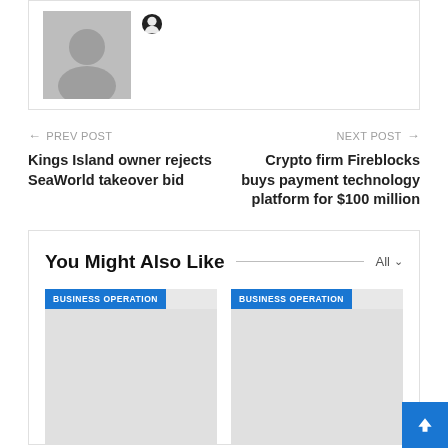[Figure (illustration): Author avatar placeholder with grey silhouette and globe/location icon]
← PREV POST
Kings Island owner rejects SeaWorld takeover bid
NEXT POST →
Crypto firm Fireblocks buys payment technology platform for $100 million
You Might Also Like
[Figure (screenshot): Two article preview cards labeled BUSINESS OPERATION with grey placeholder image areas]